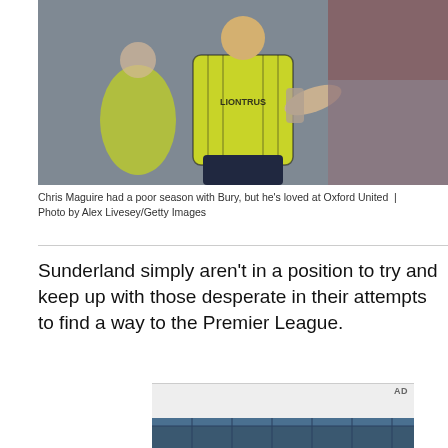[Figure (photo): Footballer wearing yellow LIONTRUS jersey celebrating or gesturing on the pitch, with other players in yellow in the background and crowd visible]
Chris Maguire had a poor season with Bury, but he's loved at Oxford United  |  Photo by Alex Livesey/Getty Images
Sunderland simply aren't in a position to try and keep up with those desperate in their attempts to find a way to the Premier League.
[Figure (photo): Partial photo visible at bottom of page showing what appears to be a stadium or building exterior]